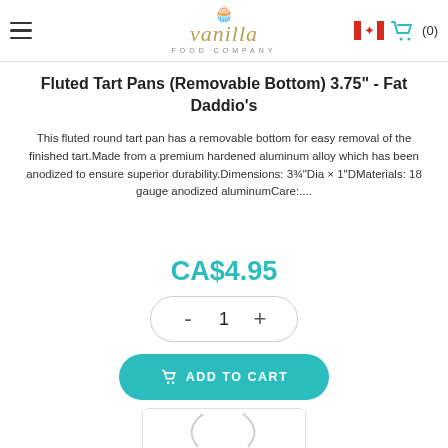Vanilla Food Company — hamburger menu, flag, cart (0)
Fluted Tart Pans (Removable Bottom) 3.75" - Fat Daddio's
This fluted round tart pan has a removable bottom for easy removal of the finished tart.Made from a premium hardened aluminum alloy which has been anodized to ensure superior durability.Dimensions: 3¾"Dia × 1"DMaterials: 18 gauge anodized aluminumCare:....
CA$4.95
- 1 +
ADD TO CART
[Figure (photo): Partial product image of a fluted tart pan showing curved edge detail]